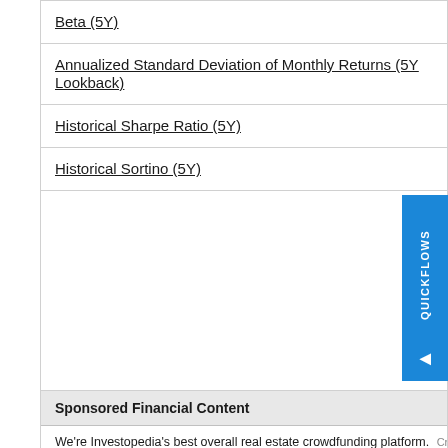Beta (5Y)
Annualized Standard Deviation of Monthly Returns (5Y Lookback)
Historical Sharpe Ratio (5Y)
Historical Sortino (5Y)
Sponsored Financial Content
We're Investopedia's best overall real estate crowdfunding platform. Crowd
One of the Best Cash Back Cards We've Seen The Ascent
Are You Prepared for A Stock Market"Aftershock" in 2022? Stansberry Research
Retirement expectations are changing. Get insights. Principal®. Get our insight
Get Insights Into Your Money Habits. Take This Money Personality Quiz Tr